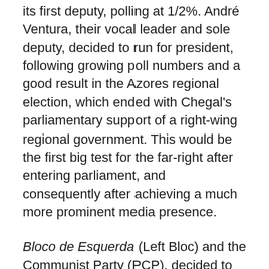its first deputy, polling at 1/2%. André Ventura, their vocal leader and sole deputy, decided to run for president, following growing poll numbers and a good result in the Azores regional election, which ended with Chegal's parliamentary support of a right-wing regional government. This would be the first big test for the far-right after entering parliament, and consequently after achieving a much more prominent media presence.
Bloco de Esquerda (Left Bloc) and the Communist Party (PCP), decided to propose their own candidates, Marisa Matias (who also ran in 2016) and João Ferreira, both MEPs. It was a strategy which would allow them to introduce topics like the defence of the national health care system, of social support programmes, and of the Constitution; and the adoption of more robust measures against climate change, topics which made the far-right uncomfortable, shifting the campaign